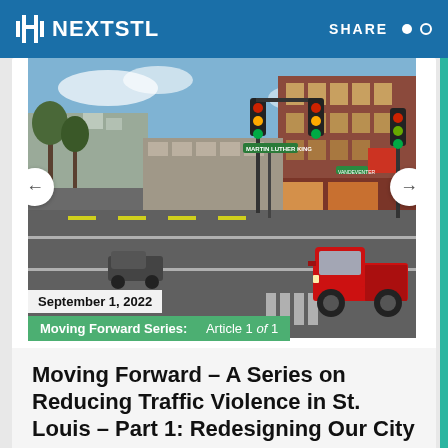NEXTSTL | SHARE
[Figure (photo): Street scene showing a wide urban road with a red pickup truck, traffic lights, and a multi-story brick commercial building in the background. Clear sky day. St. Louis neighborhood intersection.]
September 1, 2022
Moving Forward Series:   Article 1 of 1
Moving Forward – A Series on Reducing Traffic Violence in St. Louis – Part 1: Redesigning Our City
by Sam McCrory  2 comments  8 min